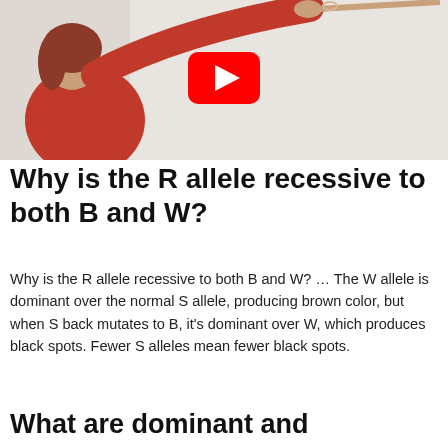[Figure (photo): A woman with red hair wearing a red top, reaching up to write on a whiteboard. A YouTube play button overlay is visible in the upper center of the image.]
Why is the R allele recessive to both B and W?
Why is the R allele recessive to both B and W? … The W allele is dominant over the normal S allele, producing brown color, but when S back mutates to B, it's dominant over W, which produces black spots. Fewer S alleles mean fewer black spots.
What are dominant and